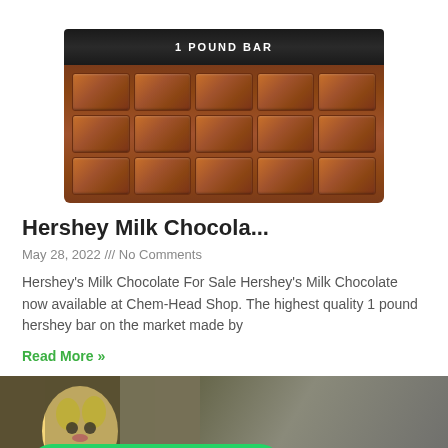[Figure (photo): Hershey's 1 pound chocolate bar product photo showing the dark packaging on top and the segmented brown chocolate bar below]
Hershey Milk Chocola...
May 28, 2022 /// No Comments
Hershey's Milk Chocolate For Sale Hershey's Milk Chocolate now available at Chem-Head Shop. The highest quality 1 pound hershey bar on the market made by
Read More »
[Figure (photo): Bottom image showing anime/cartoon character packaging and a WhatsApp chat button overlay saying 'How can I help you?' with a blue chat bubble in the corner]